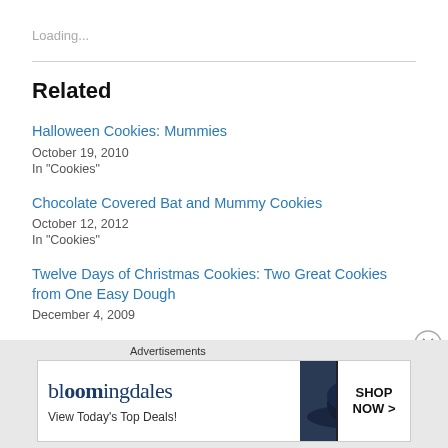Loading...
Related
Halloween Cookies: Mummies
October 19, 2010
In "Cookies"
Chocolate Covered Bat and Mummy Cookies
October 12, 2012
In "Cookies"
Twelve Days of Christmas Cookies: Two Great Cookies from One Easy Dough
December 4, 2009
[Figure (screenshot): Bloomingdale's advertisement banner: 'View Today's Top Deals! SHOP NOW >' with a woman in a wide-brim hat]